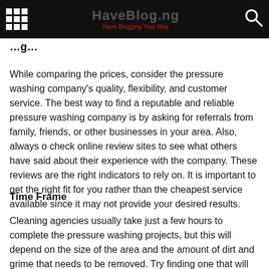Have Blogging Your Way
While comparing the prices, consider the pressure washing company's quality, flexibility, and customer service. The best way to find a reputable and reliable pressure washing company is by asking for referrals from family, friends, or other businesses in your area. Also, always o check online review sites to see what others have said about their experience with the company. These reviews are the right indicators to rely on. It is important to get the right fit for you rather than the cheapest service available since it may not provide your desired results.
Time Frame
Cleaning agencies usually take just a few hours to complete the pressure washing projects, but this will depend on the size of the area and the amount of dirt and grime that needs to be removed. Try finding one that will do it when your business is